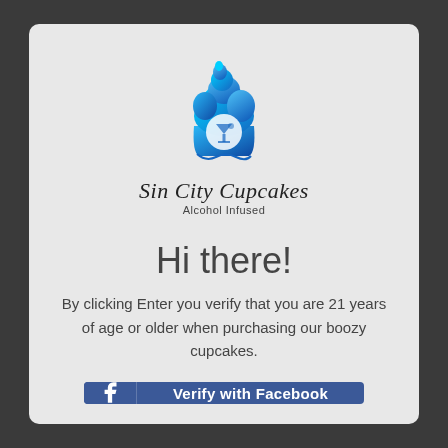[Figure (logo): Sin City Cupcakes logo — a blue gradient cupcake with swirl frosting and a martini glass icon, with the text 'Sin City Cupcakes' in italic serif and 'Alcohol Infused' below]
Hi there!
By clicking Enter you verify that you are 21 years of age or older when purchasing our boozy cupcakes.
[Figure (other): Facebook verify button — blue rectangle with Facebook 'f' logo icon on left and 'Verify with Facebook' text]